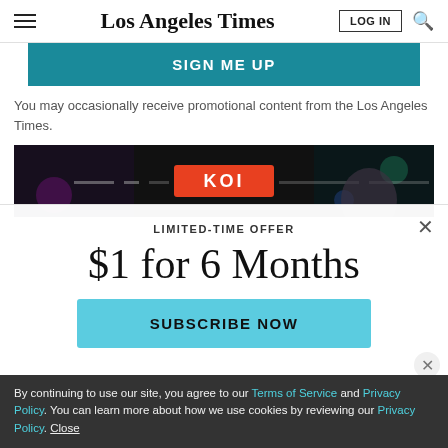Los Angeles Times
SIGN ME UP
You may occasionally receive promotional content from the Los Angeles Times.
[Figure (photo): Nightlife scene with KOI sign and city lights at night]
LIMITED-TIME OFFER
$1 for 6 Months
SUBSCRIBE NOW
By continuing to use our site, you agree to our Terms of Service and Privacy Policy. You can learn more about how we use cookies by reviewing our Privacy Policy. Close